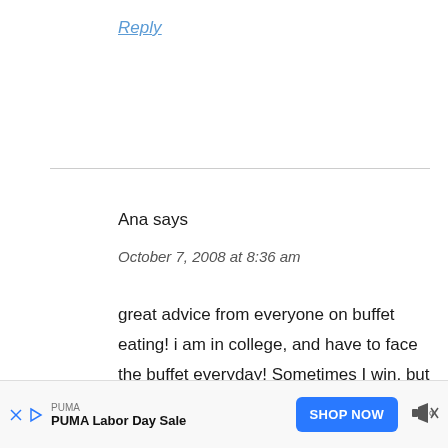Reply
Ana says
October 7, 2008 at 8:36 am
great advice from everyone on buffet eating! i am in college, and have to face the buffet everyday! Sometimes I win, but sometimes I lose. My clothes are fitting tighter, but the thing to remember is this is not a permanent state. Tips to get
[Figure (other): Advertisement banner: PUMA Labor Day Sale with Shop Now button]